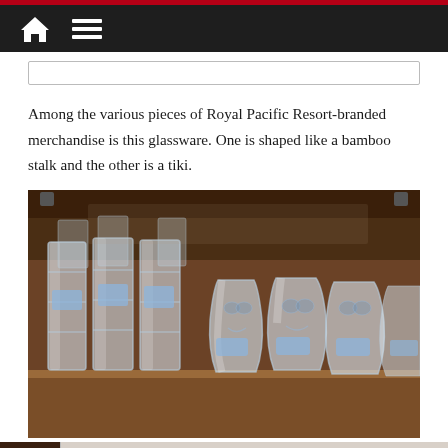Navigation bar with home and menu icons
Among the various pieces of Royal Pacific Resort-branded merchandise is this glassware. One is shaped like a bamboo stalk and the other is a tiki.
[Figure (photo): Photo of Royal Pacific Resort branded glassware on a wooden shelf. Several tall cylindrical bamboo-shaped glasses on the left and tiki-shaped glasses on the right, each with blue price/info tags.]
[Figure (photo): Partial photo at bottom of page, white/gray background visible, appears to be another product or scene.]